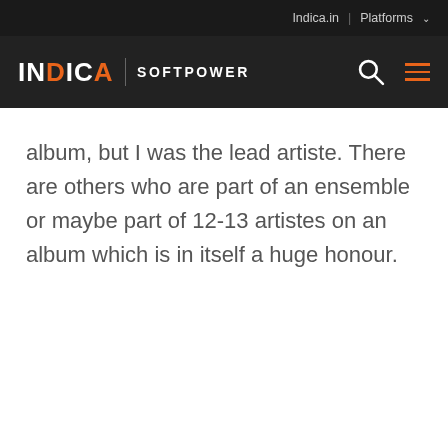Indica.in | Platforms
INDICA | SOFTPOWER
album, but I was the lead artiste. There are others who are part of an ensemble or maybe part of 12-13 artistes on an album which is in itself a huge honour.